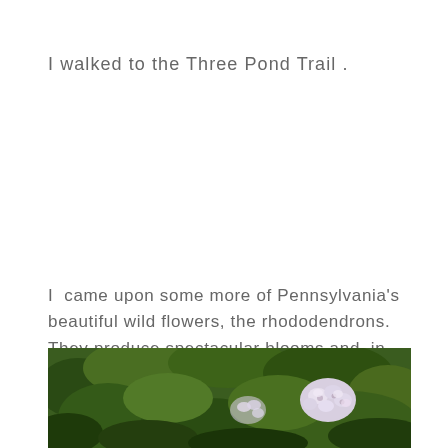I walked to the Three Pond Trail .
I  came upon some more of Pennsylvania's beautiful wild flowers, the rhododendrons. They produce spectacular blooms and, in some locations, cover acres of ground.
[Figure (photo): Close-up photograph of rhododendron flowers with white and pink blooms against lush green foliage background]